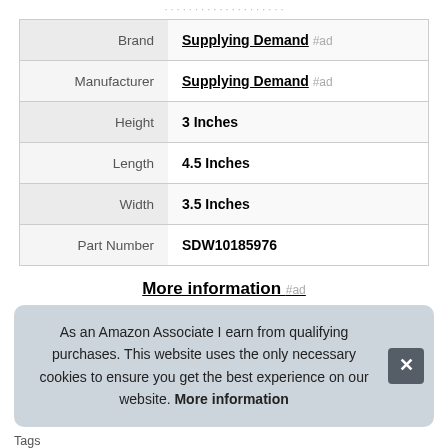|  |  |
| --- | --- |
| Brand | Supplying Demand #ad |
| Manufacturer | Supplying Demand #ad |
| Height | 3 Inches |
| Length | 4.5 Inches |
| Width | 3.5 Inches |
| Part Number | SDW10185976 |
More information #ad
As an Amazon Associate I earn from qualifying purchases. This website uses the only necessary cookies to ensure you get the best experience on our website. More information
Tags
Supplying Demand